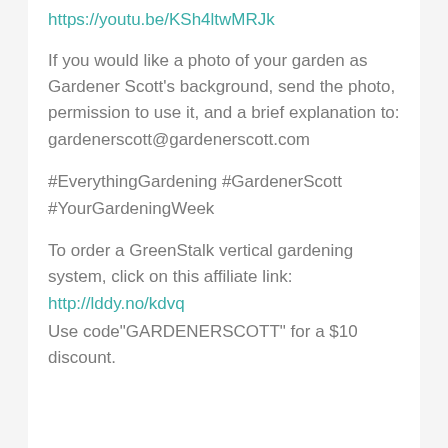https://youtu.be/KSh4ltwMRJk
If you would like a photo of your garden as Gardener Scott's background, send the photo, permission to use it, and a brief explanation to: gardenerscott@gardenerscott.com
#EverythingGardening #GardenerScott #YourGardeningWeek
To order a GreenStalk vertical gardening system, click on this affiliate link: http://lddy.no/kdvq Use code"GARDENERSCOTT" for a $10 discount.